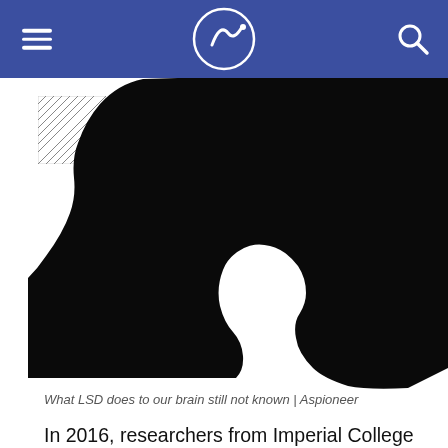Aspioneer
[Figure (illustration): Black silhouette of a human head in profile facing right, with a small red mark at the top. A hatched/striped square pattern is visible in the upper left area of the image.]
What LSD does to our brain still not known | Aspioneer
In 2016, researchers from Imperial College London were the first to use brain scanning techniques to visualize how LSD alters the way the brain works. One key finding was that LSD had a disorganizing influence on cortical activity, which permitted the brain to operate in a freer, less constrained manner than usual. The results suggested that psychedelics increase communication between parts of the brain that are less likely to communicate with one another, and decrease